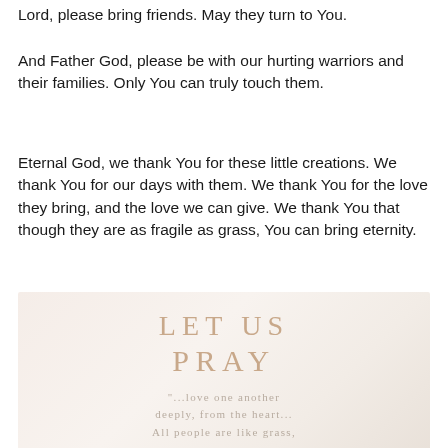Lord, please bring friends. May they turn to You.
And Father God, please be with our hurting warriors and their families. Only You can truly touch them.
Eternal God, we thank You for these little creations. We thank You for our days with them. We thank You for the love they bring, and the love we can give. We thank You that though they are as fragile as grass, You can bring eternity.
[Figure (illustration): Decorative prayer card with soft floral background. Large text reads 'LET US PRAY' in spaced gold/tan serif letters. Below is a scripture quote in smaller spaced gray text: '"...love one another deeply, from the heart... All people are like grass,']